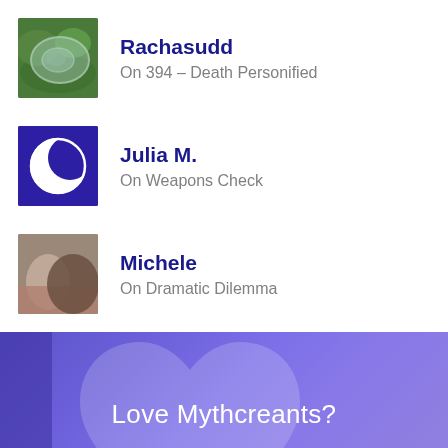Rachasudd — On 394 – Death Personified
Julia M. — On Weapons Check
Michele — On Dramatic Dilemma
Ron D — On Dramatic Dilemma
[Figure (illustration): Purple banner with heart shape watermark and text 'Love Mythcreants?']